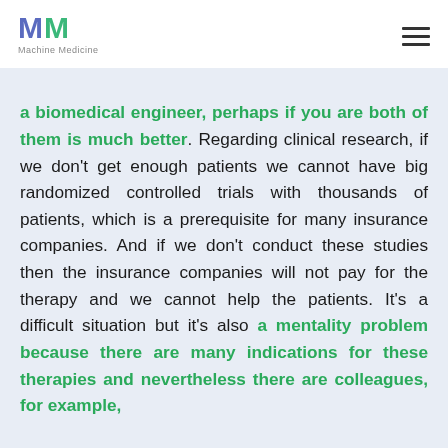Machine Medicine
a biomedical engineer, perhaps if you are both of them is much better. Regarding clinical research, if we don't get enough patients we cannot have big randomized controlled trials with thousands of patients, which is a prerequisite for many insurance companies. And if we don't conduct these studies then the insurance companies will not pay for the therapy and we cannot help the patients. It's a difficult situation but it's also a mentality problem because there are many indications for these therapies and nevertheless there are colleagues, for example,